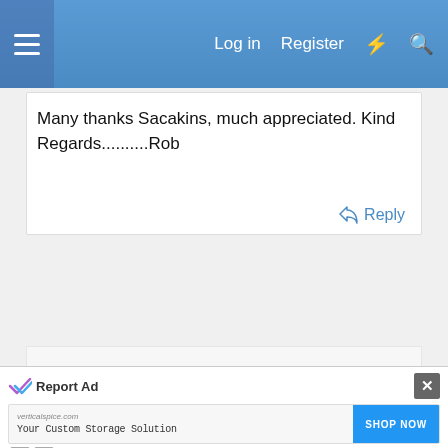Log in  Register
Many thanks Sacakins, much appreciated. Kind Regards..........Rob
Reply
Advertisement
Report Ad
verticalspice.com  Your Custom Storage Solution  SHOP NOW